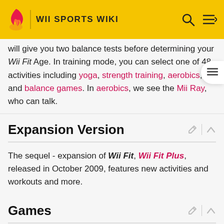WII SPORTS WIKI
will give you two balance tests before determining your Wii Fit Age. In training mode, you can select one of 48 activities including yoga, strength training, aerobics, and balance games. In aerobics, we see the Mii Ray, who can talk.
Expansion Version
The sequel - expansion of Wii Fit, Wii Fit Plus, released in October 2009, features new activities and workouts and more.
Games